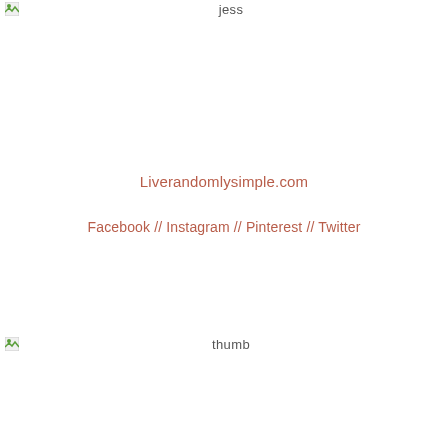[Figure (illustration): Small broken image icon in top-left corner with alt text 'jess' displayed to the right]
Liverandomlysimple.com
Facebook // Instagram // Pinterest // Twitter
[Figure (illustration): Small broken image icon in left with alt text 'thumb' displayed to the right]